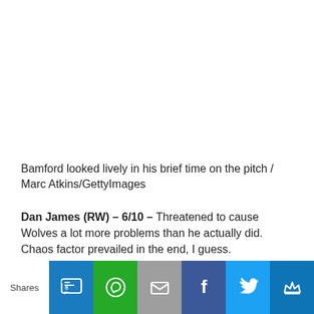Bamford looked lively in his brief time on the pitch / Marc Atkins/GettyImages
Dan James (RW) – 6/10 – Threatened to cause Wolves a lot more problems than he actually did. Chaos factor prevailed in the end, I guess.
[Figure (infographic): Social sharing bar with SMS, WhatsApp, Email, Facebook, Twitter, and King icons on colored buttons]